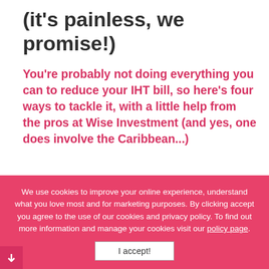(it's painless, we promise!)
You're probably not doing everything you can to reduce your IHT bill, so here's four ways to tackle it, with a little help from the pros at Wise Investment (and yes, one does involve the Caribbean...)
No-one likes to talk about death or money, which makes inheritance tax (IHT) something of a no-go conversation topic. But believe it or not, the subject forever and the first you'll hear of it could be when you're presented with a large tax bill...
Perhaps you, or your loved ones, would like to give 40% of your estate to the tax man, but if you're with the
We use cookies to improve your online experience, understand what you love most and for marketing purposes. By clicking accept you agree to the use of our cookies and privacy policy. To find out more information and manage your cookies visit our policy page.